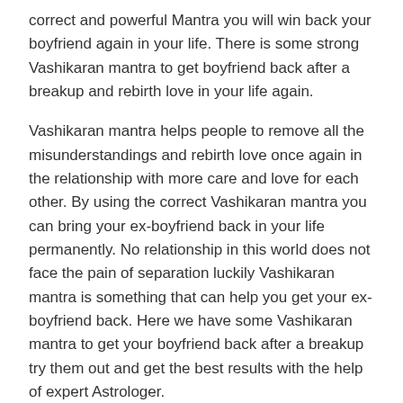correct and powerful Mantra you will win back your boyfriend again in your life. There is some strong Vashikaran mantra to get boyfriend back after a breakup and rebirth love in your life again.
Vashikaran mantra helps people to remove all the misunderstandings and rebirth love once again in the relationship with more care and love for each other. By using the correct Vashikaran mantra you can bring your ex-boyfriend back in your life permanently. No relationship in this world does not face the pain of separation luckily Vashikaran mantra is something that can help you get your ex-boyfriend back. Here we have some Vashikaran mantra to get your boyfriend back after a breakup try them out and get the best results with the help of expert Astrologer.
How to use totka to get lost love back permanently? Loving someone in your life is one of the most pleasant